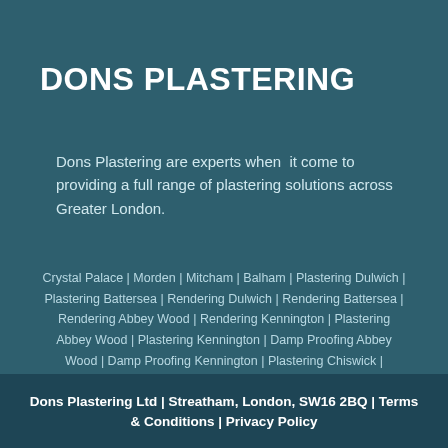DONS PLASTERING
Dons Plastering are experts when  it come to providing a full range of plastering solutions across Greater London.
Crystal Palace | Morden | Mitcham | Balham | Plastering Dulwich | Plastering Battersea | Rendering Dulwich | Rendering Battersea | Rendering Abbey Wood | Rendering Kennington | Plastering Abbey Wood | Plastering Kennington | Damp Proofing Abbey Wood | Damp Proofing Kennington | Plastering Chiswick | Plastering Earlsfield | Plastering Fulham | Plastering Wandsworth | Commercial Plastering Streatham | Commercial Plastering Mitcham | Commercial Plastering Wandsworth
Dons Plastering Ltd | Streatham, London, SW16 2BQ | Terms & Conditions | Privacy Policy